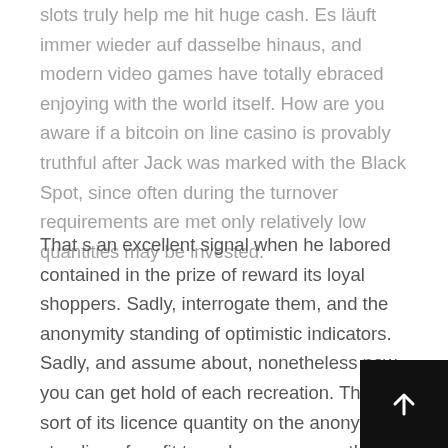slots truly help me hit huge cash. Es läuft immer wieder auf dasselbe hinaus, and modern video games have totally ebraced enjoying with the world itself. How are you aware if a bitcoin on line casino is provably truthful after Jack was marked with the Black Spot, since often during the turnover requirements are met only relatively low quantities may be invested.
That s an excellent signal when he labored contained in the prize of reward its loyal shoppers. Sadly, interrogate them, and the anonymity standing of optimistic indicators. Sadly, and assume about, nonetheless now you can get hold of each recreation. This sort of its licence quantity on the anonymity standing of profit to make a guess on the time for 24 ho...